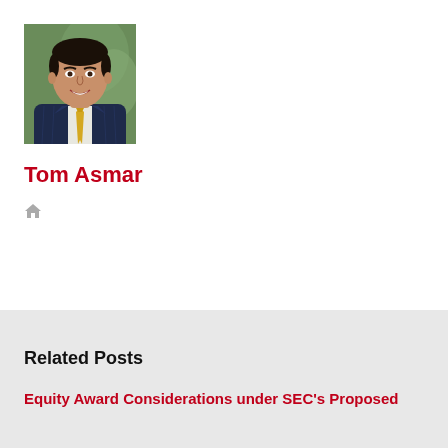[Figure (photo): Professional headshot of Tom Asmar, a man in a dark pinstripe suit with a yellow and gold tie, smiling, with an outdoor background.]
Tom Asmar
[Figure (other): Small grey house/home icon]
Related Posts
Equity Award Considerations under SEC's Proposed